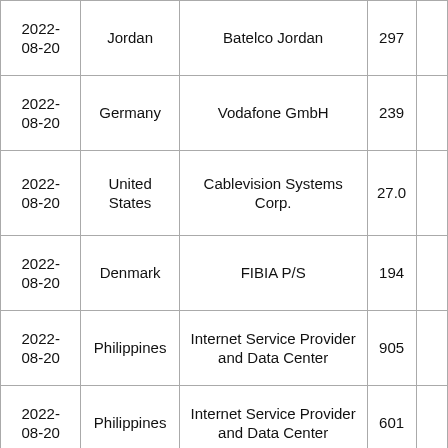| 2022-08-20 | Jordan | Batelco Jordan | 297 |  |
| 2022-08-20 | Germany | Vodafone GmbH | 239 |  |
| 2022-08-20 | United States | Cablevision Systems Corp. | 27.0 |  |
| 2022-08-20 | Denmark | FIBIA P/S | 194 |  |
| 2022-08-20 | Philippines | Internet Service Provider and Data Center | 905 |  |
| 2022-08-20 | Philippines | Internet Service Provider and Data Center | 601 |  |
| 2022-08-20 | Nepal | Simple Media Network Private Limited | 580 |  |